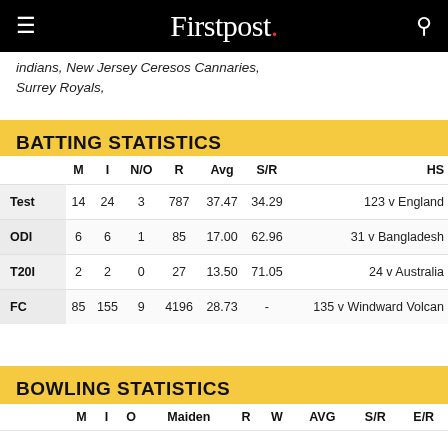Firstpost.
indians, New Jersey Ceresos Cannaries, Surrey Royals,
BATTING STATISTICS
|  | M | I | N/O | R | Avg | S/R | HS |
| --- | --- | --- | --- | --- | --- | --- | --- |
| Test | 14 | 24 | 3 | 787 | 37.47 | 34.29 | 123 v England |
| ODI | 6 | 6 | 1 | 85 | 17.00 | 62.96 | 31 v Bangladesh |
| T20I | 2 | 2 | 0 | 27 | 13.50 | 71.05 | 24 v Australia |
| FC | 85 | 155 | 9 | 4196 | 28.73 | - | 135 v Windward Volcan |
BOWLING STATISTICS
|  | M | I | O | Maiden | R | W | AVG | S/R | E/R |
| --- | --- | --- | --- | --- | --- | --- | --- | --- | --- |